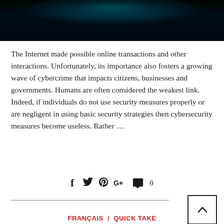[Figure (photo): Dark abstract header image with teal/cyan glow on black background]
The Internet made possible online transactions and other interactions. Unfortunately, its importance also fosters a growing wave of cybercrime that impacts citizens, businesses and governments. Humans are often considered the weakest link. Indeed, if individuals do not use security measures properly or are negligent in using basic security strategies then cybersecurity measures become useless. Rather …
[Figure (infographic): Social sharing icons: Facebook, Twitter, Pinterest, Google+, comment bubble with count 0]
FRANÇAIS  /  QUICK TAKE